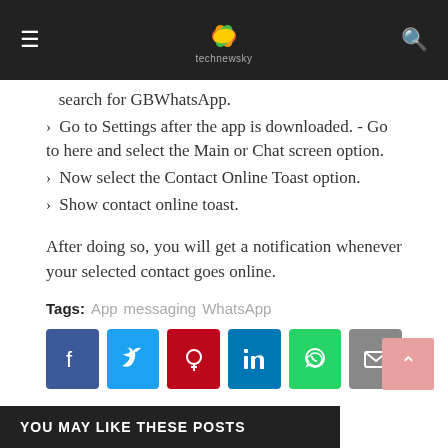technewsky
search for GBWhatsApp.
> Go to Settings after the app is downloaded. - Go to here and select the Main or Chat screen option.
> Now select the Contact Online Toast option.
> Show contact online toast.
After doing so, you will get a notification whenever your selected contact goes online.
Tags: App  messaging  WhatsApp
[Figure (infographic): Social sharing buttons: Facebook, Twitter, Pinterest, LinkedIn, WhatsApp, Email]
YOU MAY LIKE THESE POSTS